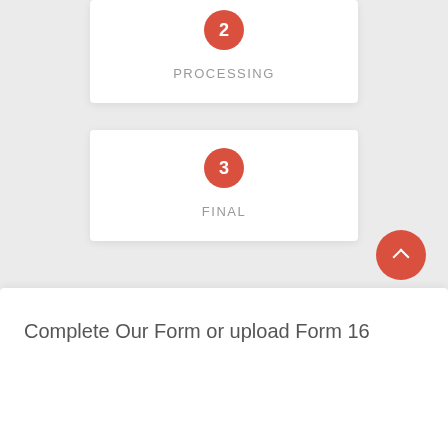[Figure (infographic): Step 2 card with orange circle numbered 2 and label PROCESSING]
[Figure (infographic): Step 3 card with orange circle numbered 3 and label FINAL]
Complete Our Form or upload Form 16